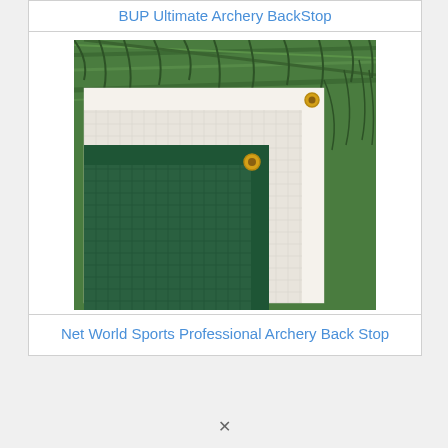BUP Ultimate Archery BackStop
[Figure (photo): Close-up photo of two archery backstop nets laid on grass. One net is white/cream colored mesh fabric with a white border, and the other is dark green mesh fabric, both featuring gold metal grommet eyelets in the corners.]
Net World Sports Professional Archery Back Stop